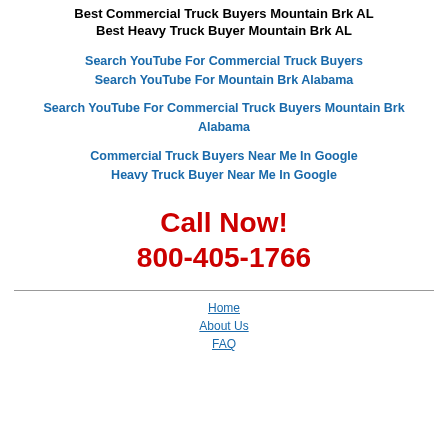Best Commercial Truck Buyers Mountain Brk AL
Best Heavy Truck Buyer Mountain Brk AL
Search YouTube For Commercial Truck Buyers
Search YouTube For Mountain Brk Alabama
Search YouTube For Commercial Truck Buyers Mountain Brk Alabama
Commercial Truck Buyers Near Me In Google
Heavy Truck Buyer Near Me In Google
Call Now!
800-405-1766
Home
About Us
FAQ